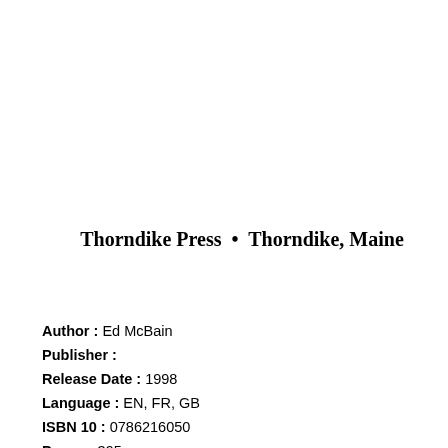Thorndike Press • Thorndike, Maine
Author : Ed McBain
Publisher :
Release Date : 1998
Language : EN, FR, GB
ISBN 10 : 0786216050
Pages : 395 pages